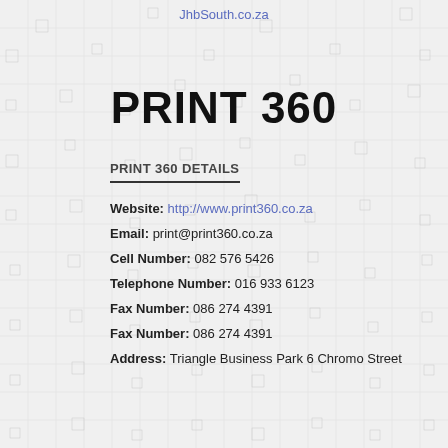JhbSouth.co.za
PRINT 360
PRINT 360 DETAILS
Website: http://www.print360.co.za
Email: print@print360.co.za
Cell Number: 082 576 5426
Telephone Number: 016 933 6123
Fax Number: 086 274 4391
Fax Number: 086 274 4391
Address: Triangle Business Park 6 Chromo Street